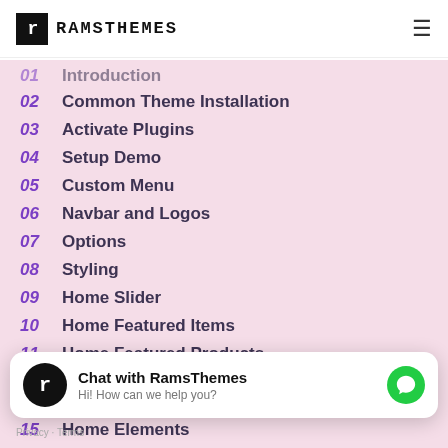RAMSTHEMES
01 Introduction
02 Common Theme Installation
03 Activate Plugins
04 Setup Demo
05 Custom Menu
06 Navbar and Logos
07 Options
08 Styling
09 Home Slider
10 Home Featured Items
11 Home Featured Products
12 Home Products Slider
15 Home Elements
Chat with RamsThemes
Hi! How can we help you?
Privacy · Terms